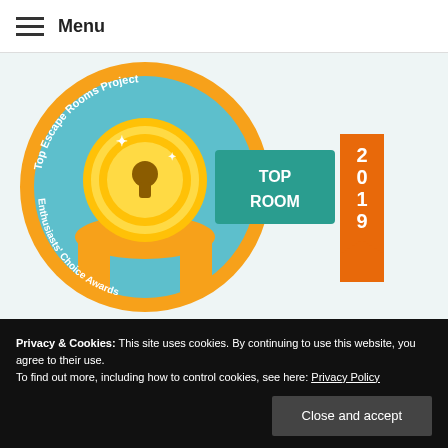Menu
[Figure (logo): Top Escape Rooms Project Enthusiasts' Choice Awards badge — circular light blue badge with orange ribbon, gold medal icon, teal banner reading TOP ROOM, and orange bookmark banner reading 2019]
THE TOP ESCAPE ROOM PROJECT 2019
Privacy & Cookies: This site uses cookies. By continuing to use this website, you agree to their use.
To find out more, including how to control cookies, see here: Privacy Policy
Close and accept